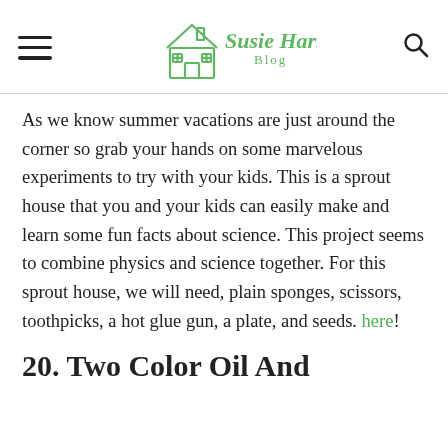Susie Harris Blog
As we know summer vacations are just around the corner so grab your hands on some marvelous experiments to try with your kids. This is a sprout house that you and your kids can easily make and learn some fun facts about science. This project seems to combine physics and science together. For this sprout house, we will need, plain sponges, scissors, toothpicks, a hot glue gun, a plate, and seeds. here!
20. Two Color Oil And